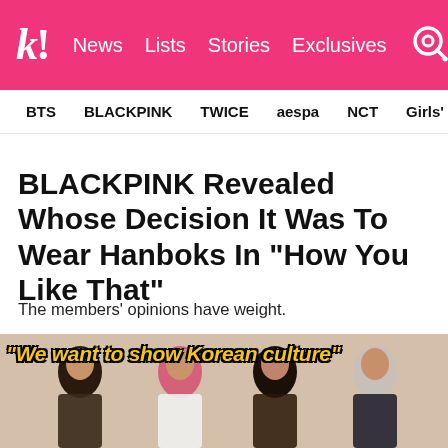k! News Lists Stories Exclusives
BTS  BLACKPINK  TWICE  aespa  NCT  Girls' Generation
BLACKPINK Revealed Whose Decision It Was To Wear Hanboks In “How You Like That”
The members’ opinions have weight.
[Figure (photo): Group photo of BLACKPINK four members (Lisa, Jennie, Jisoo, Rosé) in decorative outfits, with text overlay reading “We want to show Korean culture” in bold italic yellow outlined letters]